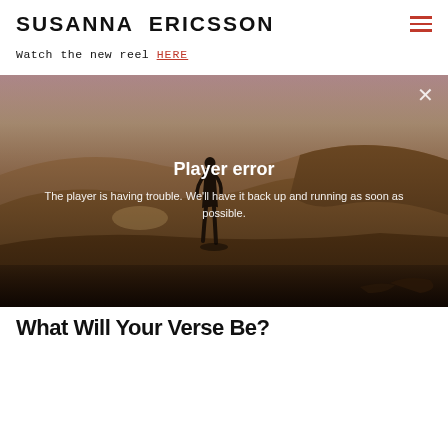SUSANNA ERICSSON
Watch the new reel HERE
[Figure (screenshot): Video player showing a desert landscape with a lone figure standing on sand dunes. The player displays an error overlay: 'Player error — The player is having trouble. We'll have it back up and running as soon as possible.' A close (×) button appears in the top-right corner.]
What Will Your Verse Be?